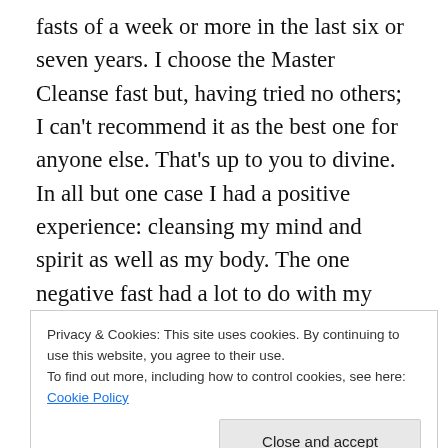fasts of a week or more in the last six or seven years. I choose the Master Cleanse fast but, having tried no others; I can't recommend it as the best one for anyone else. That's up to you to divine. In all but one case I had a positive experience: cleansing my mind and spirit as well as my body. The one negative fast had a lot to do with my attitude. It was my third one and I had become arrogant and macho about the undertaking, which set me up to fail and, in so doing, to learn an important lesson about intention: You simply can't muscle through these things. It has to be inspired and then you can surrender to it
Privacy & Cookies: This site uses cookies. By continuing to use this website, you agree to their use.
To find out more, including how to control cookies, see here: Cookie Policy
overhead, or some other trigger would catch my mind and